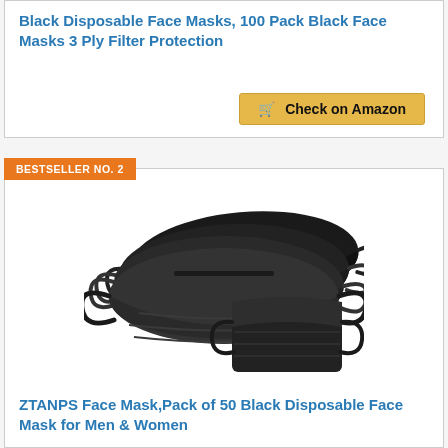Black Disposable Face Masks, 100 Pack Black Face Masks 3 Ply Filter Protection
Check on Amazon
BESTSELLER NO. 2
[Figure (photo): Black disposable face masks stacked together, showing multiple masks fanned out and one folded mask in front, all black colored]
ZTANPS Face Mask,Pack of 50 Black Disposable Face Mask for Men & Women